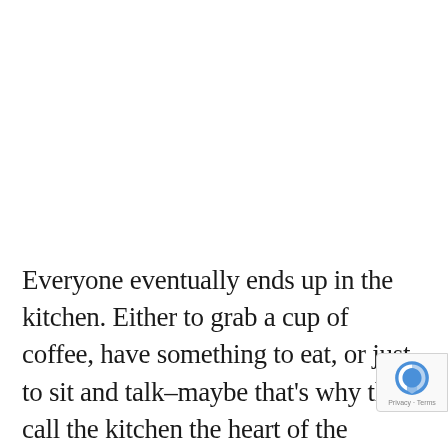Everyone eventually ends up in the kitchen. Either to grab a cup of coffee, have something to eat, or just to sit and talk–maybe that's why they call the kitchen the heart of the home. Beautiful kitchen spaces can be designed